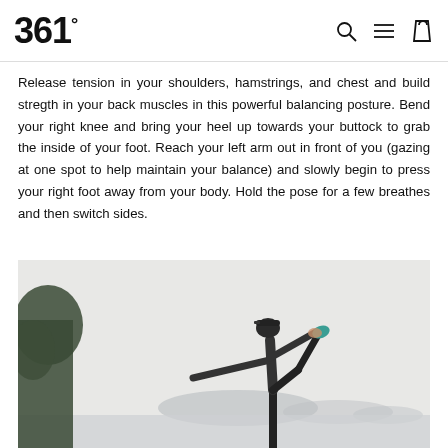361°
Release tension in your shoulders, hamstrings, and chest and build stregth in your back muscles in this powerful balancing posture. Bend your right knee and bring your heel up towards your buttock to grab the inside of your foot. Reach your left arm out in front of you (gazing at one spot to help maintain your balance) and slowly begin to press your right foot away from your body. Hold the pose for a few breathes and then switch sides.
[Figure (photo): A woman in athletic wear performing a dancer yoga pose (Natarajasana) outdoors on an elevated location, holding her right foot behind her with her right hand while extending her left arm forward, with trees and misty islands/water in the background.]